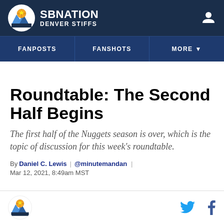SB NATION / DENVER STIFFS
FANPOSTS | FANSHOTS | MORE
Roundtable: The Second Half Begins
The first half of the Nuggets season is over, which is the topic of discussion for this week's roundtable.
By Daniel C. Lewis | @minutemandan | Mar 12, 2021, 8:49am MST